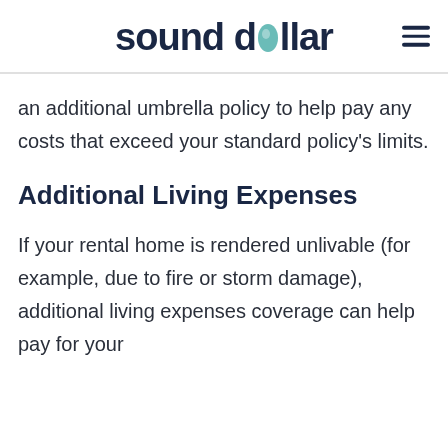sound dollar
an additional umbrella policy to help pay any costs that exceed your standard policy's limits.
Additional Living Expenses
If your rental home is rendered unlivable (for example, due to fire or storm damage), additional living expenses coverage can help pay for your